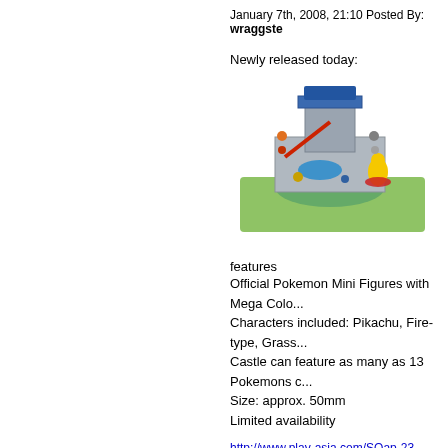January 7th, 2008, 21:10 Posted By: wraggste
Newly released today:
[Figure (photo): Pokemon Mini Figures castle playset with Pikachu and other characters on a map board]
features
Official Pokemon Mini Figures with Mega Colo...
Characters included: Pikachu, Fire-type, Grass...
Castle can feature as many as 13 Pokemons c...
Size: approx. 50mm
Limited availability
http://www.play-asia.com/SOap-23-83-...j-70-2
To read more of the post and Download, cli...
Join In and Discuss Here